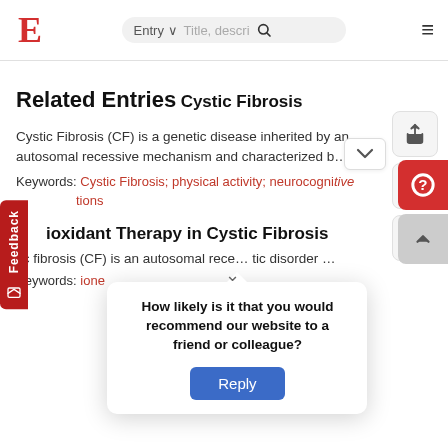E | Entry ▾  Title, descri... 🔍  ☰
Related Entries
Cystic Fibrosis
Cystic Fibrosis (CF) is a genetic disease inherited by an autosomal recessive mechanism and characterized b…
Keywords: Cystic Fibrosis; physical activity; neurocognitive …tions
…ioxidant Therapy in Cystic Fibrosis
…tic fibr…sis (CF) is an autosomal rece… …tic disorder …
Keywords: …ione
How likely is it that you would recommend our website to a friend or colleague?